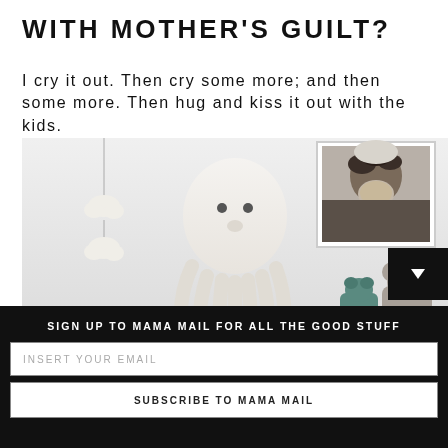WITH MOTHER'S GUILT?
I cry it out. Then cry some more; and then some more. Then hug and kiss it out with the kids.
[Figure (photo): A children's room wall scene featuring a white stuffed octopus toy hanging on the wall, white cloud decorations hanging on the left, a framed portrait photo of a girl on the upper right, and two stuffed animal toys (a teal one and a beige one) sitting on a surface at the lower right.]
SIGN UP TO MAMA MAIL FOR ALL THE GOOD STUFF
INSERT YOUR EMAIL
SUBSCRIBE TO MAMA MAIL